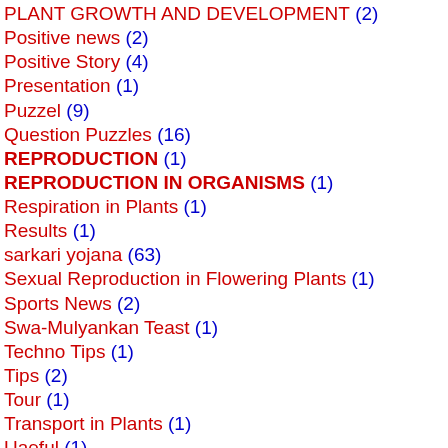PLANT GROWTH AND DEVELOPMENT (2)
Positive news (2)
Positive Story (4)
Presentation (1)
Puzzel (9)
Question Puzzles (16)
REPRODUCTION (1)
REPRODUCTION IN ORGANISMS (1)
Respiration in Plants (1)
Results (1)
sarkari yojana (63)
Sexual Reproduction in Flowering Plants (1)
Sports News (2)
Swa-Mulyankan Teast (1)
Techno Tips (1)
Tips (2)
Tour (1)
Transport in Plants (1)
Uaeful (1)